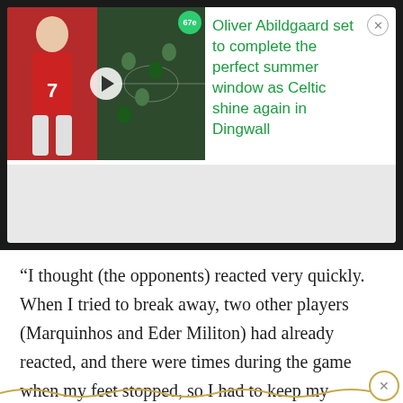[Figure (screenshot): Video thumbnail showing a football player in red jersey (number 7) on left, a match scene on right, with a green 'PERFECT WINDOW?' banner at bottom and a play button overlay. Badge showing '67e' in top right of thumbnail.]
Oliver Abildgaard set to complete the perfect summer window as Celtic shine again in Dingwall
“I thought (the opponents) reacted very quickly. When I tried to break away, two other players (Marquinhos and Eder Militon) had already reacted, and there were times during the game when my feet stopped, so I had to keep my antenna up and be ready to take a position where I didn’t want to be, and be ready to break away at the rig…